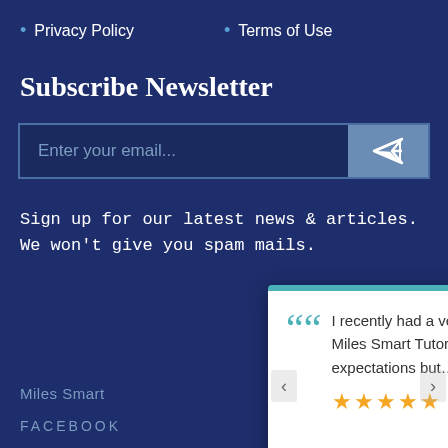• Privacy Policy
• Terms of Use
Subscribe Newsletter
Enter your email...
Sign up for our latest news & articles. We won't give you spam mails.
I recently had a very time sensitive situation. Miles Smart Tutoring not only met my expectations but...
Karen Hanlon
view post
Miles Smart
FACEBOOK